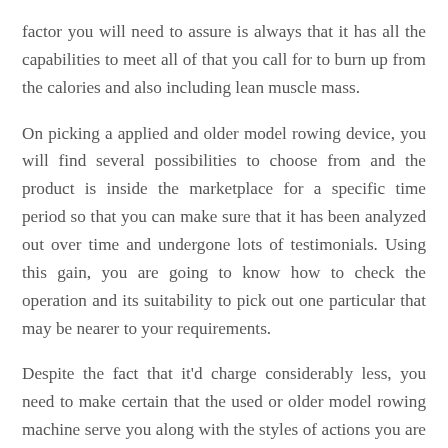factor you will need to assure is always that it has all the capabilities to meet all of that you call for to burn up from the calories and also including lean muscle mass.
On picking a applied and older model rowing device, you will find several possibilities to choose from and the product is inside the marketplace for a specific time period so that you can make sure that it has been analyzed out over time and undergone lots of testimonials. Using this gain, you are going to know how to check the operation and its suitability to pick out one particular that may be nearer to your requirements.
Despite the fact that it'd charge considerably less, you need to make certain that the used or older model rowing machine serve you along with the styles of actions you are going to carry out. In the event you even now won't be able